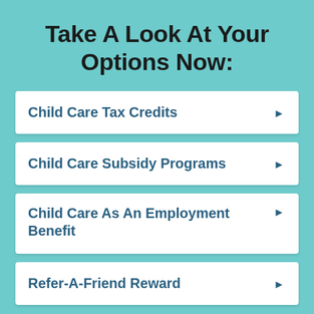Take A Look At Your Options Now:
Child Care Tax Credits
Child Care Subsidy Programs
Child Care As An Employment Benefit
Refer-A-Friend Reward